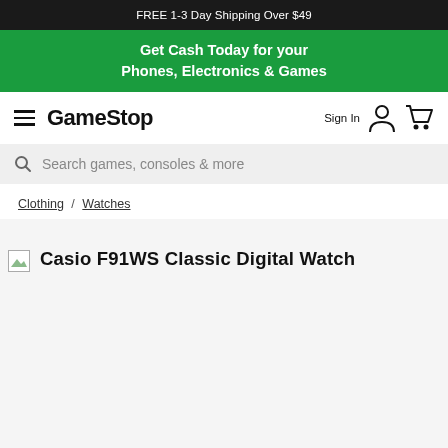FREE 1-3 Day Shipping Over $49
Get Cash Today for your Phones, Electronics & Games
[Figure (logo): GameStop logo with hamburger menu icon]
Sign In
Search games, consoles & more
Clothing / Watches
Casio F91WS Classic Digital Watch